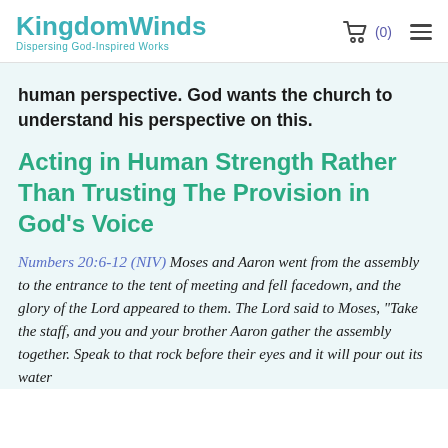KingdomWinds Dispersing God-Inspired Works
human perspective. God wants the church to understand his perspective on this.
Acting in Human Strength Rather Than Trusting The Provision in God’s Voice
Numbers 20:6-12 (NIV) Moses and Aaron went from the assembly to the entrance to the tent of meeting and fell facedown, and the glory of the Lord appeared to them. The Lord said to Moses, “Take the staff, and you and your brother Aaron gather the assembly together. Speak to that rock before their eyes and it will pour out its water